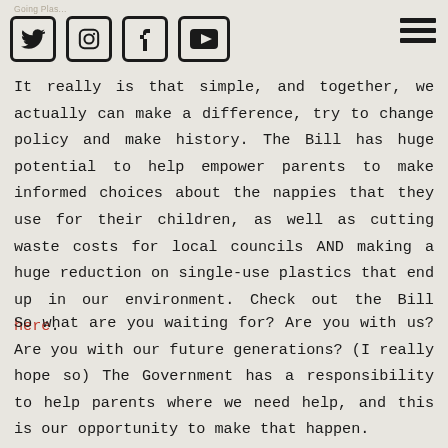Social media icons: Twitter, Instagram, Facebook, YouTube, and hamburger menu
It really is that simple, and together, we actually can make a difference, try to change policy and make history. The Bill has huge potential to help empower parents to make informed choices about the nappies that they use for their children, as well as cutting waste costs for local councils AND making a huge reduction on single-use plastics that end up in our environment. Check out the Bill here.
So what are you waiting for? Are you with us? Are you with our future generations? (I really hope so) The Government has a responsibility to help parents where we need help, and this is our opportunity to make that happen.